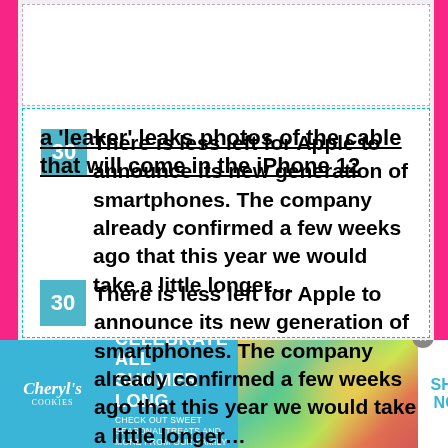a ‘leaker’ leaks photos of the cable that will come in the iPhone 12
There is less left for Apple to announce its new generation of smartphones. The company already confirmed a few weeks ago that this year we would take a little longer…
[Figure (infographic): Advertisement banner for Cheryl’s Cookies: CELEBRATE ALL SUMMER LONG with image of food and SHOP NOW call to action]